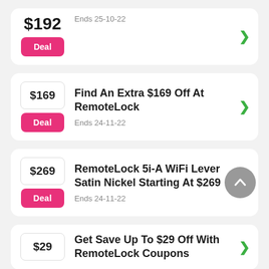[Figure (screenshot): Partial deal card showing $192 price, pink Deal button, and 'Ends 25-10-22' text with green arrow]
Find An Extra $169 Off At RemoteLock
Ends 24-11-22
RemoteLock 5i-A WiFi Lever Satin Nickel Starting At $269
Ends 24-11-22
Get Save Up To $29 Off With RemoteLock Coupons